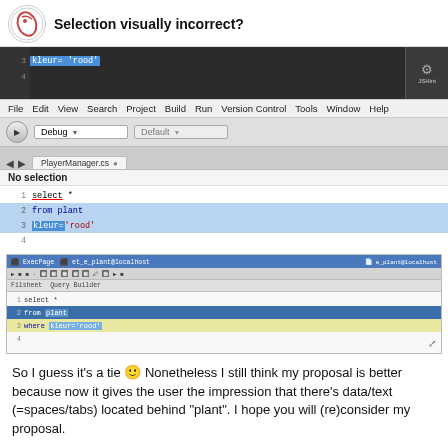Selection visually incorrect?
[Figure (screenshot): IDE code editor showing SQL with kleur='rood' highlighted in blue, line 3, with JSHint panel on right]
[Figure (screenshot): IDE menu bar: File Edit View Search Project Build Run Version Control Tools Window Help, with Debug dropdown and Default dropdown]
[Figure (screenshot): Code editor showing SQL: 1 select * 2 from plant 3 kleur='rood' with lines 2-3 highlighted blue, tab PlayerManager.cs, No selection label]
[Figure (screenshot): Second IDE screenshot showing SQL query: 1 select * 2 from plant (highlighted blue) 3 where kleur='rood' (highlighted yellow-green)]
So I guess it's a tie 🙂 Nonetheless I still think my proposal is better because now it gives the user the impression that there's data/text (=spaces/tabs) located behind "plant". I hope you will (re)consider my proposal.